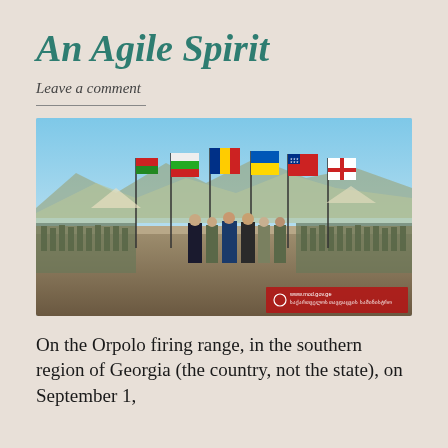An Agile Spirit
Leave a comment
[Figure (photo): Military ceremony at the Orpolo firing range in southern Georgia. Several officials and military officers stand in the foreground holding national flags including Bulgarian, Romanian, Ukrainian, US, and Georgian flags. Rows of soldiers in camouflage uniforms line the background. Arid mountain landscape visible in the distance. Red watermark in Georgian script at the bottom right corner.]
On the Orpolo firing range, in the southern region of Georgia (the country, not the state), on September 1,